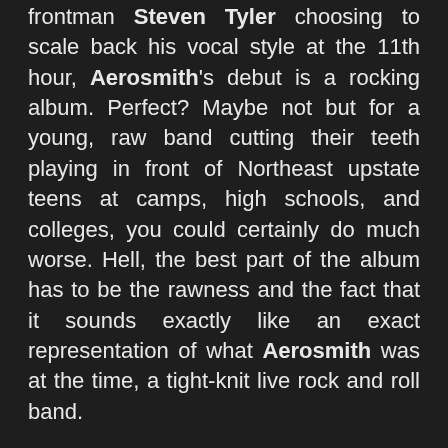frontman Steven Tyler choosing to scale back his vocal style at the 11th hour, Aerosmith's debut is a rocking album. Perfect? Maybe not but for a young, raw band cutting their teeth playing in front of Northeast upstate teens at camps, high schools, and colleges, you could certainly do much worse. Hell, the best part of the album has to be the rawness and the fact that it sounds exactly like an exact representation of what Aerosmith was at the time, a tight-knit live rock and roll band.
Kicking off with “Make It”, a track written as if to light a fire under the band to conquer the rock and roll masses, Aerosmith deliver in a way different from other Aerosmith albums in that the drums’ sound live with the hi-hat and snare punctuating each track and topped with a loose